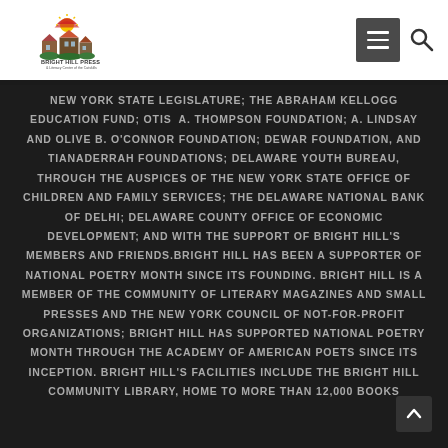Bright Hill Press & Literacy Center of the Catskills
NEW YORK STATE LEGISLATURE; THE ABRAHAM KELLOGG EDUCATION FUND; OTIS A. THOMPSON FOUNDATION; A. LINDSAY AND OLIVE B. O'CONNOR FOUNDATION; DEWAR FOUNDATION, AND TIANADERRAH FOUNDATIONS; DELAWARE YOUTH BUREAU, THROUGH THE AUSPICES OF THE NEW YORK STATE OFFICE OF CHILDREN AND FAMILY SERVICES; THE DELAWARE NATIONAL BANK OF DELHI; DELAWARE COUNTY OFFICE OF ECONOMIC DEVELOPMENT; AND WITH THE SUPPORT OF BRIGHT HILL'S MEMBERS AND FRIENDS.BRIGHT HILL HAS BEEN A SUPPORTER OF NATIONAL POETRY MONTH SINCE ITS FOUNDING. BRIGHT HILL IS A MEMBER OF THE COMMUNITY OF LITERARY MAGAZINES AND SMALL PRESSES AND THE NEW YORK COUNCIL OF NOT-FOR-PROFIT ORGANIZATIONS; BRIGHT HILL HAS SUPPORTED NATIONAL POETRY MONTH THROUGH THE ACADEMY OF AMERICAN POETS SINCE ITS INCEPTION. BRIGHT HILL'S FACILITIES INCLUDE THE BRIGHT HILL COMMUNITY LIBRARY, HOME TO MORE THAN 12,000 BOOKS